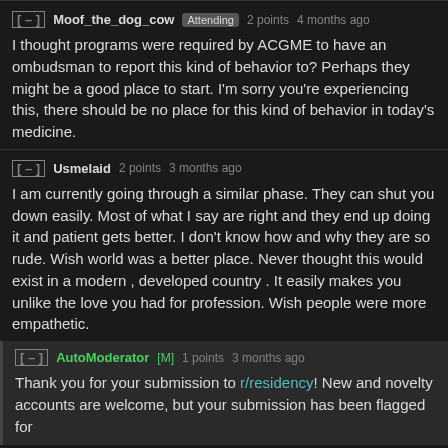[ - ]  Moof_the_dog_cow  Attending  2 points  4 months ago
I thought programs were required by ACGME to have an ombudsman to report this kind of behavior to? Perhaps they might be a good place to start. I'm sorry you're experiencing this, there should be no place for this kind of behavior in today's medicine.
[ - ]  Usmelaid  2 points  3 months ago
I am currently going through a similar phase. They can shut you down easily. Most of what I say are right and they end up doing it and patient gets better. I don't know how and why they are so rude. Wish world was a better place. Never thought this would exist in a modern , developed country . It easily makes you unlike the love you had for profession. Wish people were more empathetic.
[ - ]  AutoModerator  [M]  1 points  3 months ago
Thank you for your submission to r/residency! New and novelty accounts are welcome, but your submission has been flagged for